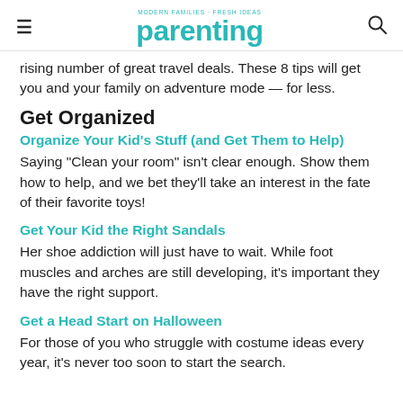MODERN FAMILIES · FRESH IDEAS parenting
rising number of great travel deals. These 8 tips will get you and your family on adventure mode — for less.
Get Organized
Organize Your Kid's Stuff (and Get Them to Help)
Saying "Clean your room" isn't clear enough. Show them how to help, and we bet they'll take an interest in the fate of their favorite toys!
Get Your Kid the Right Sandals
Her shoe addiction will just have to wait. While foot muscles and arches are still developing, it's important they have the right support.
Get a Head Start on Halloween
For those of you who struggle with costume ideas every year, it's never too soon to start the search.